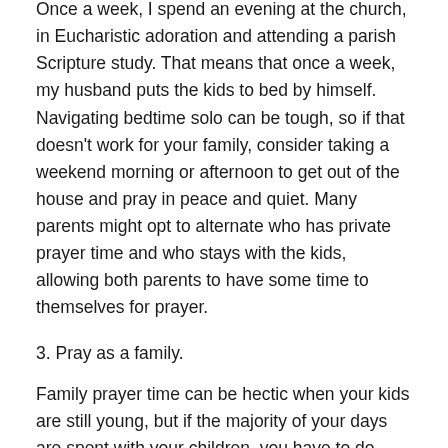Once a week, I spend an evening at the church, in Eucharistic adoration and attending a parish Scripture study. That means that once a week, my husband puts the kids to bed by himself. Navigating bedtime solo can be tough, so if that doesn't work for your family, consider taking a weekend morning or afternoon to get out of the house and pray in peace and quiet. Many parents might opt to alternate who has private prayer time and who stays with the kids, allowing both parents to have some time to themselves for prayer.
3. Pray as a family.
Family prayer time can be hectic when your kids are still young, but if the majority of your days are spent with your children, you have to do your best with what you've been given. Recently, a seasoned mom told me that her only goal with family prayer was to do it and finish it. That